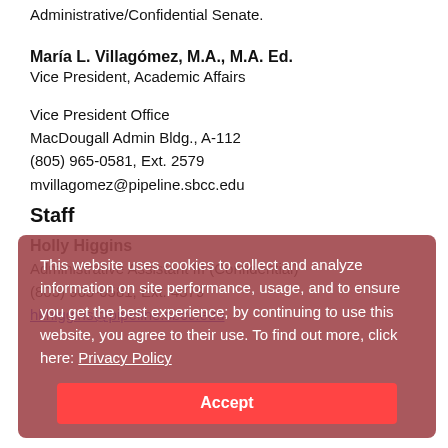Administrative/Confidential Senate.
María L. Villagómez, M.A., M.A. Ed.
Vice President, Academic Affairs
Vice President Office
MacDougall Admin Bldg., A-112
(805) 965-0581, Ext. 2579
mvillagomez@pipeline.sbcc.edu
Staff
Holly Higgins
Administrative Assistant III (Confidential)
(805) 965-0581, Ext. 4379
hkhiggins@pipeline.sbcc.edu
This website uses cookies to collect and analyze information on site performance, usage, and to ensure you get the best experience; by continuing to use this website, you agree to their use. To find out more, click here: Privacy Policy
Accept